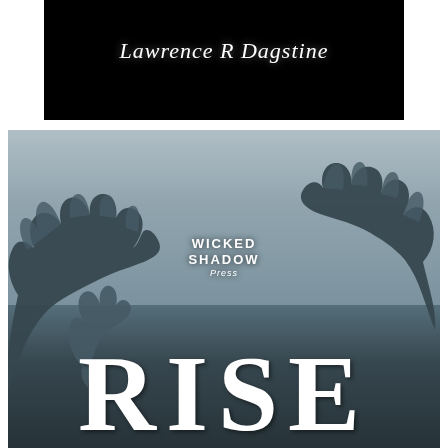[Figure (illustration): Book cover image. Top section: black background with handwritten-style white script text reading 'Lawrence R Dagstine'. Bottom section: large image of two dark, clay-like or zombie hands reaching upward against a grayish-blue misty background. In the center of the image, 'WICKED SHADOW Press' text in white. At the bottom, large bold white serif letters spelling 'RISE'.]
Lawrence R Dagstine
WICKED SHADOW Press
RISE